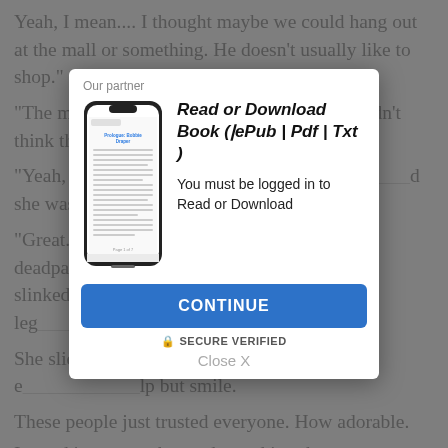Yeah, I mean.... I thought maybe we could hang out at the mall or something. He doesn't usually like to shop.
"The mall?" I laughed, shaking my head. "I didn't think this hellhole...
"Yeah, w... hing. It's nice," sh... d she wasn't e...
"Great. ... deadpa... Hagan's ... have slinked ... ween their leg... me see you...
She slid... o me. It didn't e... lp but smile.
These people just trusted everyone. How adorable.
I typed in my number and saved it to her contacts.
[Figure (screenshot): Modal overlay popup showing a phone illustration on the left with a book page displayed, and on the right: title 'Read or Download Book (ǀePub | Pdf | Txt)', text 'You must be logged in to Read or Download', a blue CONTINUE button, SECURE VERIFIED text, and a Close X link. Header says 'Our partner'.]